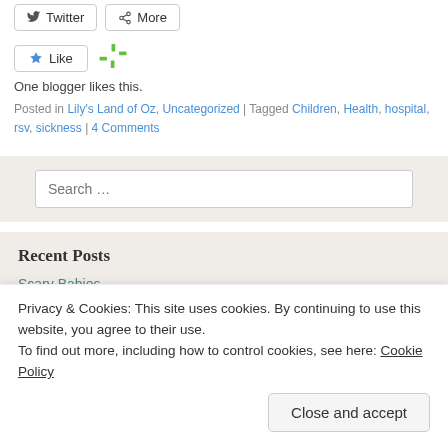Twitter
More
One blogger likes this.
Posted in Lily's Land of Oz, Uncategorized | Tagged Children, Health, hospital, rsv, sickness | 4 Comments
Search ...
Recent Posts
Scary Babies
Privacy & Cookies: This site uses cookies. By continuing to use this website, you agree to their use. To find out more, including how to control cookies, see here: Cookie Policy
Close and accept